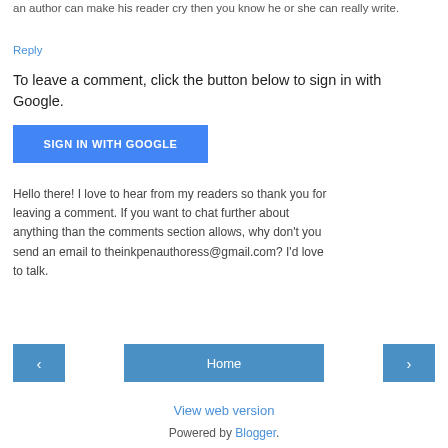an author can make his reader cry then you know he or she can really write.
Reply
To leave a comment, click the button below to sign in with Google.
[Figure (other): Blue button labeled SIGN IN WITH GOOGLE]
Hello there! I love to hear from my readers so thank you for leaving a comment. If you want to chat further about anything than the comments section allows, why don't you send an email to theinkpenauthoress@gmail.com? I'd love to talk.
[Figure (other): Navigation bar with previous arrow button, Home button, and next arrow button]
View web version
Powered by Blogger.